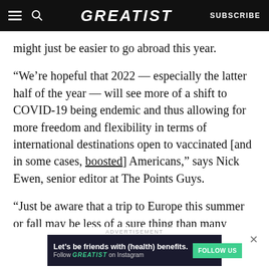GREATIST | SUBSCRIBE
might just be easier to go abroad this year.
“We’re hopeful that 2022 — especially the latter half of the year — will see more of a shift to COVID-19 being endemic and thus allowing for more freedom and flexibility in terms of international destinations open to vaccinated [and in some cases, boosted] Americans,” says Nick Ewen, senior editor at The Points Guys.
“Just be aware that a trip to Europe this summer or fall may be less of a sure thing than many closer-
ADVERTISEMENT
[Figure (other): Advertisement banner: Let's be friends with (health) benefits. Follow GREATIST on Instagram. FOLLOW US button.]